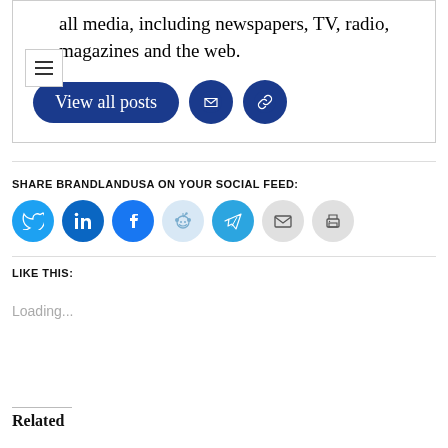all media, including newspapers, TV, radio, magazines and the web.
[Figure (screenshot): View all posts button (dark blue pill-shaped button) with email icon circle and link icon circle]
SHARE BRANDLANDUSA ON YOUR SOCIAL FEED:
[Figure (screenshot): Social sharing icon circles: Twitter, LinkedIn, Facebook, Reddit, Telegram, Email, Print]
LIKE THIS:
Loading...
Related